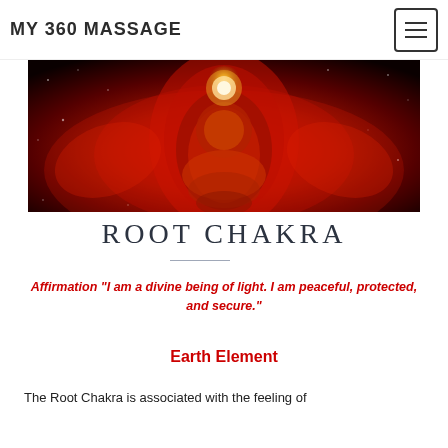MY 360 MASSAGE
[Figure (illustration): Red chakra mandala illustration with deep red swirling energy and a golden orb at top center, on a dark cosmic background]
ROOT CHAKRA
Affirmation “I am a divine being of light.  I am peaceful, protected, and secure.”
Earth Element
The Root Chakra is associated with the feeling of